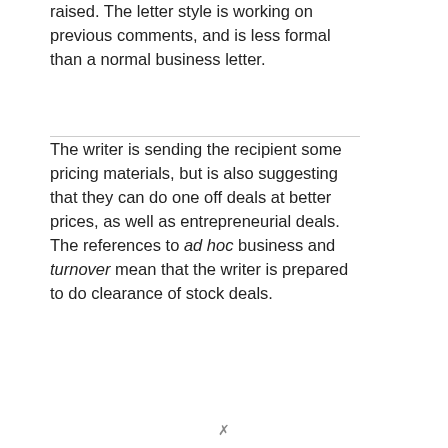raised. The letter style is working on previous comments, and is less formal than a normal business letter.
The writer is sending the recipient some pricing materials, but is also suggesting that they can do one off deals at better prices, as well as entrepreneurial deals. The references to ad hoc business and turnover mean that the writer is prepared to do clearance of stock deals.